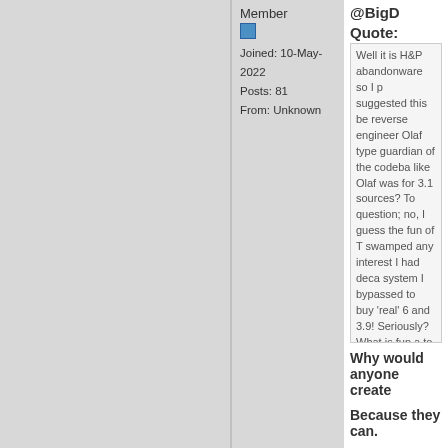Member
Joined: 10-May-2022
Posts: 81
From: Unknown
@BigD
Quote:
Well it is H&P abandonware so I proposed suggested this be reverse engineered. Olaf type guardian of the codebase like Olaf was for 3.1 sources? To answer question; no, I guess the fun of TH swamped any interest I had decad system I bypassed to buy 'real' 68 and 3.9! Seriously? What is fun ab to run Amiga software! It is barely PC to run MacOS! Why not buy a Amiga stuff?
Why would anyone create
Because they can.
Autistic obsession and crea
Status: Offline
Bosanac
Re: Updated Amithlon Kerna
Posted on 9-Jun-2022 19:23
Member
Joined: 10-May-2022
Posts: 81
From: Unknown
@BigD
Quote:
this thread is about funding yet am that presumably needs support fro fence like me!